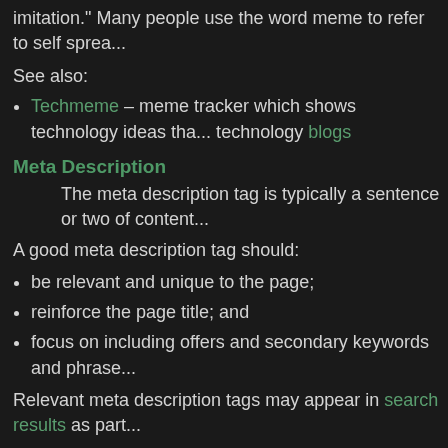imitation." Many people use the word meme to refer to self sprea...
See also:
Techmeme – meme tracker which shows technology ideas that... technology blogs
Meta Description
The meta description tag is typically a sentence or two of content...
A good meta description tag should:
be relevant and unique to the page;
reinforce the page title; and
focus on including offers and secondary keywords and phrase...
Relevant meta description tags may appear in search results as part...
The code for a meta description tag looks like this
<meta name="Description" content="Your meta description here. " / >